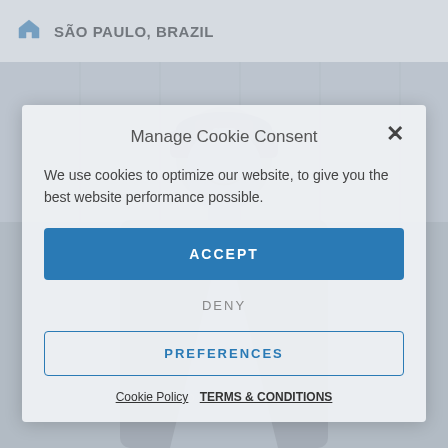SÃO PAULO, BRAZIL
[Figure (photo): Grayscale photo of a smiling person wearing a cap and jacket with 'OUTDOOR' branding, used as a website background]
Manage Cookie Consent
We use cookies to optimize our website, to give you the best website performance possible.
ACCEPT
DENY
PREFERENCES
Cookie Policy   TERMS & CONDITIONS